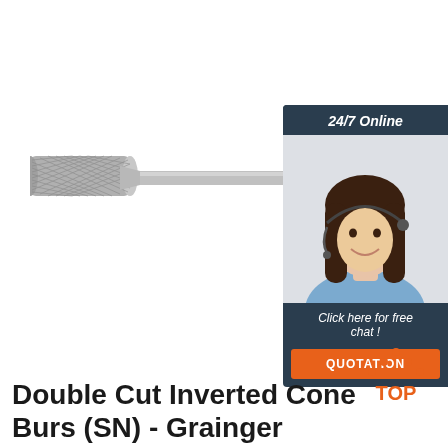[Figure (photo): A cylindrical double cut carbide bur on a long shank, photographed against white background]
[Figure (infographic): 24/7 Online chat widget with a smiling female customer service agent wearing a headset, with 'Click here for free chat!' text and an orange QUOTATION button]
[Figure (logo): TOP badge logo with orange dots forming a triangle above the word TOP in orange]
Double Cut Inverted Cone Burs (SN) - Grainger Industrial ...